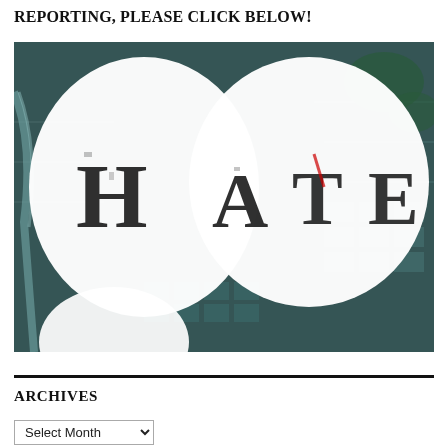REPORTING, PLEASE CLICK BELOW!
[Figure (photo): Close-up aerial-perspective composite image of two white painted fists with the letters H, A, T, E written on the knuckles, overlaid on an aerial city map background. The word HATE is spelled across the four knuckles.]
ARCHIVES
Select Month